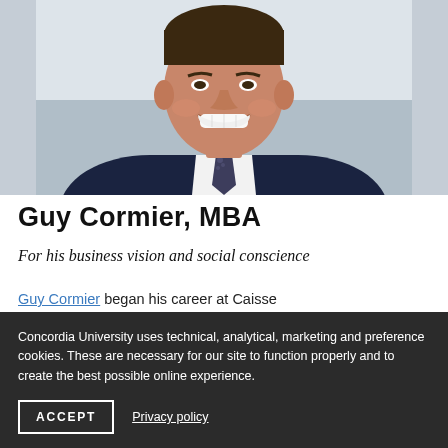[Figure (photo): Professional headshot of Guy Cormier, smiling man in dark navy suit with patterned tie and white shirt, light gray background]
Guy Cormier, MBA
For his business vision and social conscience
Guy Cormier began his career at Caisse
Concordia University uses technical, analytical, marketing and preference cookies. These are necessary for our site to function properly and to create the best possible online experience.
ACCEPT
Privacy policy